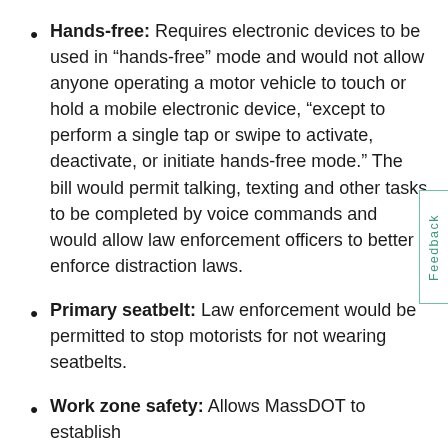Hands-free: Requires electronic devices to be used in “hands-free” mode and would not allow anyone operating a motor vehicle to touch or hold a mobile electronic device, “except to perform a single tap or swipe to activate, deactivate, or initiate hands-free mode.” The bill would permit talking, texting and other tasks to be completed by voice commands and would allow law enforcement officers to better enforce distraction laws.
Primary seatbelt: Law enforcement would be permitted to stop motorists for not wearing seatbelts.
Work zone safety: Allows MassDOT to establish